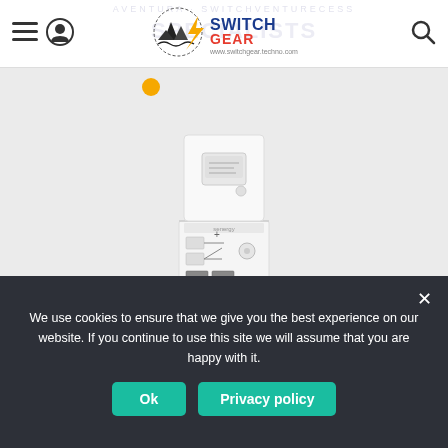Switchgear — www.switchgear.techno.com [navigation header with hamburger menu, user icon, logo, search icon]
[Figure (photo): White wall-mounted solar inverter and battery storage unit (Senergy or similar brand), shown against a light gray background. The device has an upper white box section with a display panel, a middle control/connection section with visible wiring ports and a dial, and a lower white storage/battery section with a handle.]
We use cookies to ensure that we give you the best experience on our website. If you continue to use this site we will assume that you are happy with it.
Ok   Privacy policy